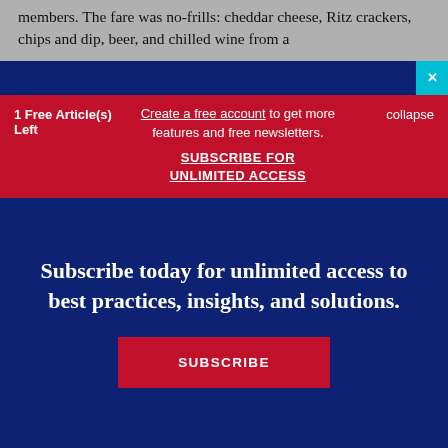members. The fare was no-frills: cheddar cheese, Ritz crackers, chips and dip, beer, and chilled wine from a
1 Free Article(s) Left
Create a free account to get more features and free newsletters.
SUBSCRIBE FOR UNLIMITED ACCESS
collapse
Subscribe today for unlimited access to best practices, insights, and solutions.
SUBSCRIBE